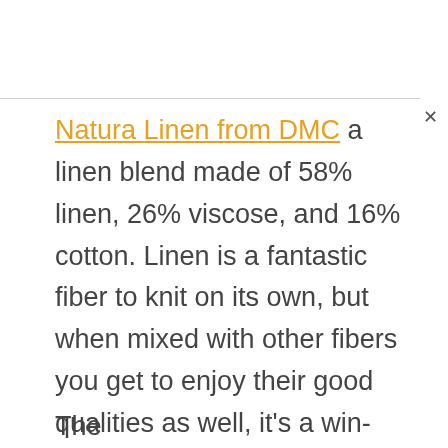Natura Linen from DMC a linen blend made of 58% linen, 26% viscose, and 16% cotton. Linen is a fantastic fiber to knit on its own, but when mixed with other fibers you get to enjoy their good qualities as well, it's a win-win!